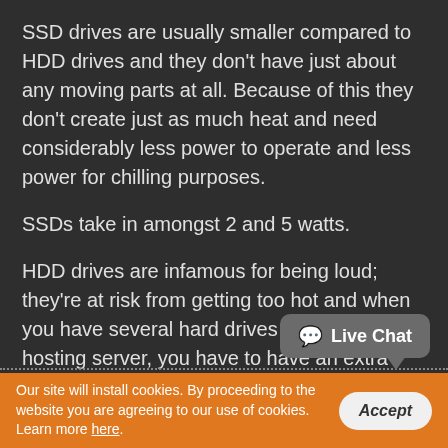SSD drives are usually smaller compared to HDD drives and they don't have just about any moving parts at all. Because of this they don't create just as much heat and need considerably less power to operate and less power for chilling purposes.
SSDs take in amongst 2 and 5 watts.
HDD drives are infamous for being loud; they're at risk from getting too hot and when you have several hard drives in a single hosting server, you have to have an extra cooling system only for them.
In general, HDDs consume between 6 and 15 watts.
💬 Live Chat
Our site will install cookies. By proceeding to the website you are agreeing to our use of cookies. Learn more here.